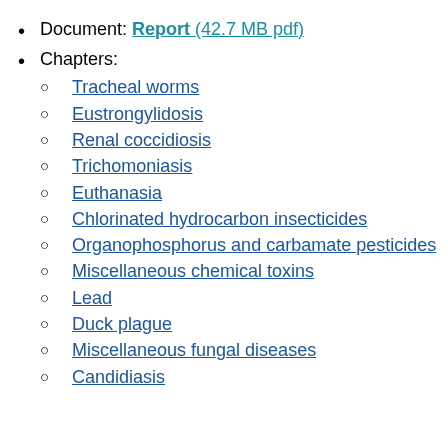Document: Report (42.7 MB pdf)
Chapters:
Tracheal worms
Eustrongylidosis
Renal coccidiosis
Trichomoniasis
Euthanasia
Chlorinated hydrocarbon insecticides
Organophosphorus and carbamate pesticides
Miscellaneous chemical toxins
Lead
Duck plague
Miscellaneous fungal diseases
Candidiasis